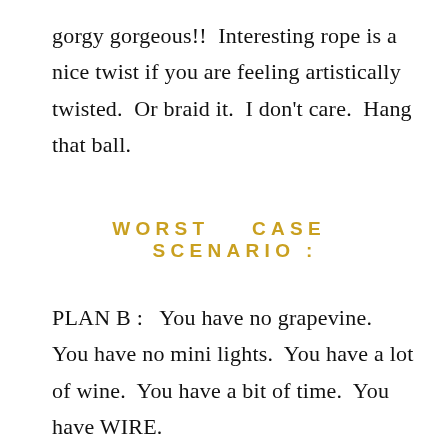gorgy gorgeous!!  Interesting rope is a nice twist if you are feeling artistically twisted.  Or braid it.  I don't care.  Hang that ball.
WORST   CASE   SCENARIO :
PLAN B :   You have no grapevine.  You have no mini lights.  You have a lot of wine.  You have a bit of time.  You have WIRE.